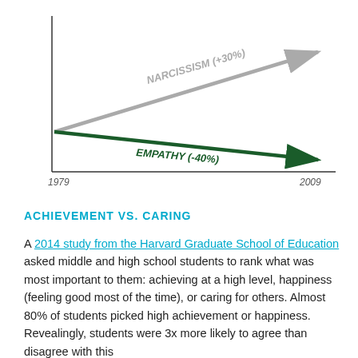[Figure (line-chart): Narcissism and Empathy trends 1979–2009]
ACHIEVEMENT VS. CARING
A 2014 study from the Harvard Graduate School of Education asked middle and high school students to rank what was most important to them: achieving at a high level, happiness (feeling good most of the time), or caring for others. Almost 80% of students picked high achievement or happiness. Revealingly, students were 3x more likely to agree than disagree with this